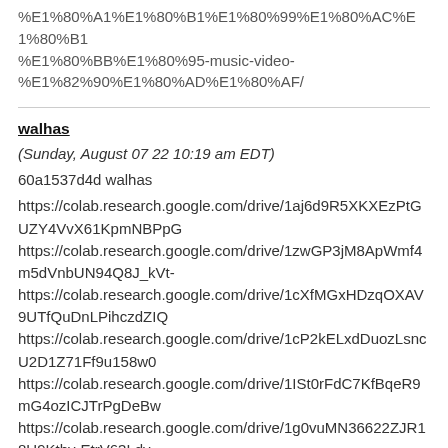%E1%80%A1%E1%80%B1%E1%80%99%E1%80%AC%E1%80%B1%E1%80%BB%E1%80%95-music-video-%E1%82%90%E1%80%AD%E1%80%AF/
walhas
(Sunday, August 07 22 10:19 am EDT)
60a1537d4d walhas
https://colab.research.google.com/drive/1aj6d9R5XKXEzPtGUZY4VvX61KpmNBPpG
https://colab.research.google.com/drive/1zwGP3jM8ApWmf4m5dVnbUN94Q8J_kVt-
https://colab.research.google.com/drive/1cXfMGxHDzqOXAV9UTfQuDnLPihczdZIQ
https://colab.research.google.com/drive/1cP2kELxdDuozLsncU2D1Z71Ff9u158w0
https://colab.research.google.com/drive/1ISt0rFdC7KfBqeR9mG4ozICJTrPgDeBw
https://colab.research.google.com/drive/1g0vuMN36622ZJR18U9Kthy-EtrV63Ldy
https://colab.research.google.com/drive/1DXXOgziM5lf5z3c4z24DgfqeJt9UfrXX
https://colab.research.google.com/drive/1-c7KaZAlyckleUZcyb8rnwCDcl0zWNRo
https://colab.research.google.com/drive/1_puxN0DpKs65lqHneJy93lpueVL-3m3s
https://colab.research.google.com/drive/1KSoCMmLESXYd6rBTq7enP1unyf-oreOj